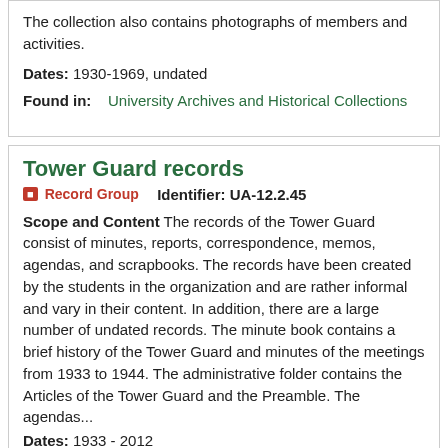The collection also contains photographs of members and activities.
Dates: 1930-1969, undated
Found in:   University Archives and Historical Collections
Tower Guard records
Record Group   Identifier: UA-12.2.45
Scope and Content The records of the Tower Guard consist of minutes, reports, correspondence, memos, agendas, and scrapbooks. The records have been created by the students in the organization and are rather informal and vary in their content. In addition, there are a large number of undated records. The minute book contains a brief history of the Tower Guard and minutes of the meetings from 1933 to 1944. The administrative folder contains the Articles of the Tower Guard and the Preamble. The agendas...
Dates: 1933 - 2012
Found in:   University Archives and Historical Collections